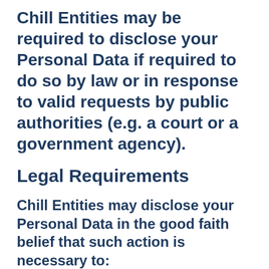Chill Entities may be required to disclose your Personal Data if required to do so by law or in response to valid requests by public authorities (e.g. a court or a government agency).
Legal Requirements
Chill Entities may disclose your Personal Data in the good faith belief that such action is necessary to:
To comply with a legal obligation.
To protect and defend the rights or property of Chill Entities.